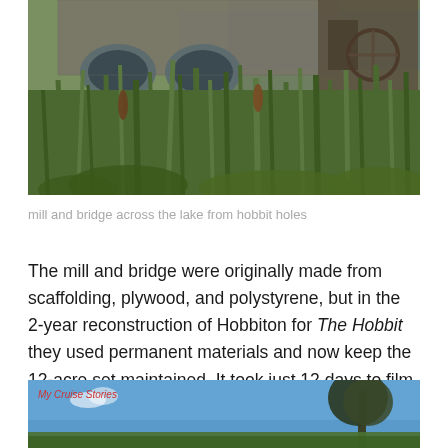[Figure (photo): Outdoor photo of a stone arch bridge and mill across a lake, with lush green reed grass and cattails in the foreground, water visible in the background.]
mill and bridge across the lake from hobbit holes
The mill and bridge were originally made from scaffolding, plywood, and polystyrene, but in the 2-year reconstruction of Hobbiton for The Hobbit they used permanent materials and now keep the 12-acre set maintained. It took just 12 days to film the Hobbit trilogy.
[Figure (photo): Partial photo showing blue sky with a large tree on the right side, bottom portion of another outdoor scene. Watermark text reads 'My Cruise Stories' in red italic.]